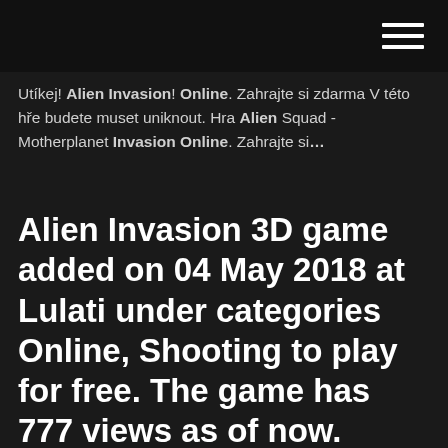(hamburger menu icon)
Utíkej! Alien Invasion! Online. Zahrajte si zdarma V této hře budete muset uniknout. Hra Alien Squad - Motherplanet Invasion Online. Zahrajte si…
Alien Invasion 3D game added on 04 May 2018 at Lulati under categories Online, Shooting to play for free. The game has 777 views as of now. Alien Invasion 3D rated 5 by 1 users. Alien Invasion 3D is a survival game that will truly test your shooting skills. Pick up all the ammos and